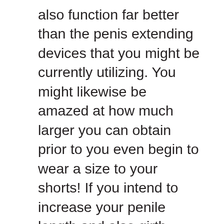also function far better than the penis extending devices that you might be currently utilizing. You might likewise be amazed at how much larger you can obtain prior to you even begin to wear a size to your shorts! If you intend to increase your penile length and also girth without needing to undergo surgical procedure, after that you must experiment with several of the augmentation approaches pointed out over. They are confirmed to help lots of guys.
Among one of the most typical penis augmentation approaches that guys make use of entails using traction devices. Grip devices work by using continual tension to the body organ. When this continual pressure is used, the body reacts by creating